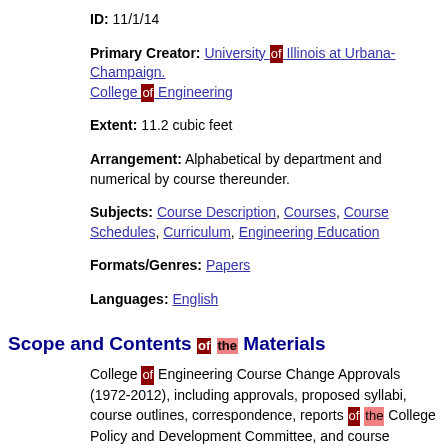ID: 11/1/14
Primary Creator: University of Illinois at Urbana-Champaign. College of Engineering
Extent: 11.2 cubic feet
Arrangement: Alphabetical by department and numerical by course thereunder.
Subjects: Course Description, Courses, Course Schedules, Curriculum, Engineering Education
Formats/Genres: Papers
Languages: English
Scope and Contents of the Materials
College of Engineering Course Change Approvals (1972-2012), including approvals, proposed syllabi, course outlines, correspondence, reports of the College Policy and Development Committee, and course checklists for engineering courses added, dropped, revised, and proposed. Also contains records related to courses for joint programs and cross-listed courses.
Biographical Note